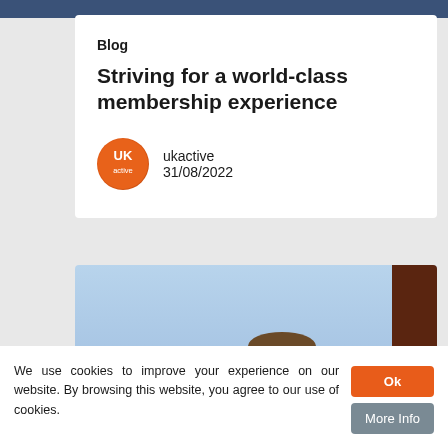[Figure (photo): Top portion of a person in dark clothing against a light background, cropped at top of page]
Blog
Striving for a world-class membership experience
ukactive
31/08/2022
[Figure (photo): Man speaking at a conference or event, light blue background with the partial text 'ctivity' visible, dark brown panel on right edge, orange circle in bottom right]
We use cookies to improve your experience on our website. By browsing this website, you agree to our use of cookies.